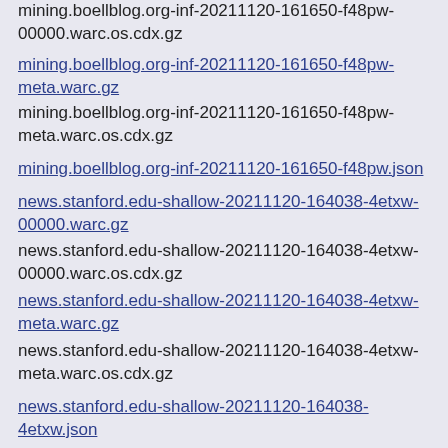mining.boellblog.org-inf-20211120-161650-f48pw-00000.warc.os.cdx.gz
mining.boellblog.org-inf-20211120-161650-f48pw-meta.warc.gz (link)
mining.boellblog.org-inf-20211120-161650-f48pw-meta.warc.os.cdx.gz
mining.boellblog.org-inf-20211120-161650-f48pw.json (link)
news.stanford.edu-shallow-20211120-164038-4etxw-00000.warc.gz (link)
news.stanford.edu-shallow-20211120-164038-4etxw-00000.warc.os.cdx.gz
news.stanford.edu-shallow-20211120-164038-4etxw-meta.warc.gz (link)
news.stanford.edu-shallow-20211120-164038-4etxw-meta.warc.os.cdx.gz
news.stanford.edu-shallow-20211120-164038-4etxw.json (link)
nypost.com-shallow-20211120-164238-biai3-00000.warc.gz (link)
nypost.com-shallow-20211120-164238-biai3-00000.warc.os.cdx.gz